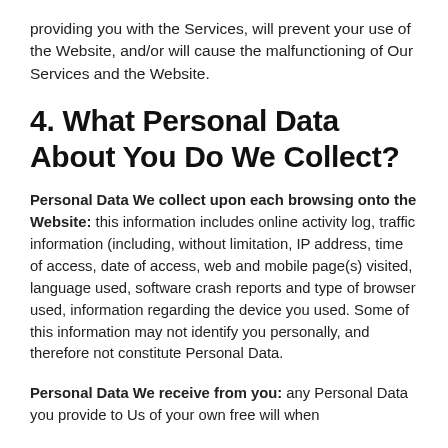providing you with the Services, will prevent your use of the Website, and/or will cause the malfunctioning of Our Services and the Website.
4. What Personal Data About You Do We Collect?
Personal Data We collect upon each browsing onto the Website: this information includes online activity log, traffic information (including, without limitation, IP address, time of access, date of access, web and mobile page(s) visited, language used, software crash reports and type of browser used, information regarding the device you used. Some of this information may not identify you personally, and therefore not constitute Personal Data.
Personal Data We receive from you: any Personal Data you provide to Us of your own free will when